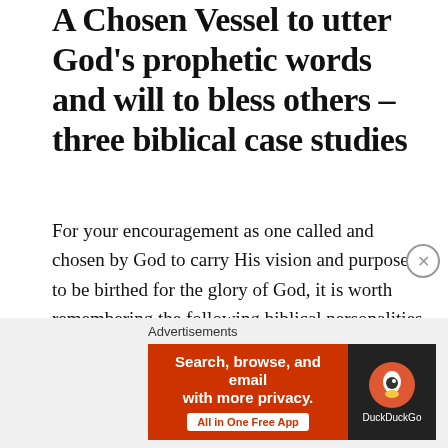A Chosen Vessel to utter God's prophetic words and will to bless others – three biblical case studies
For your encouragement as one called and chosen by God to carry His vision and purpose to be birthed for the glory of God, it is worth remembering the following biblical personalities who were also God's instruments. As in their case, you also have the ability to prophecy, or be God's vessel for uttering His words or will to bless others:
[Figure (screenshot): Advertisement banner for DuckDuckGo: 'Search, browse, and email with more privacy. All in One Free App' with DuckDuckGo logo on dark background, on orange-red left panel and dark right panel.]